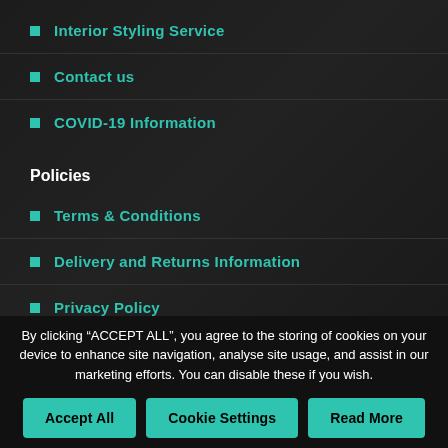Interior Styling Service
Contact us
COVID-19 Information
Policies
Terms & Conditions
Delivery and Returns Information
Privacy Policy
By clicking “ACCEPT ALL”, you agree to the storing of cookies on your device to enhance site navigation, analyse site usage, and assist in our marketing efforts. You can disable these if you wish.
Accept All | Cookie Settings | Read More